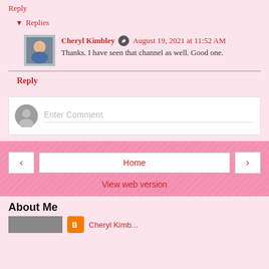Reply
▼ Replies
Cheryl Kimbley ✎ August 19, 2021 at 11:52 AM
Thanks. I have seen that channel as well. Good one.
Reply
Enter Comment
Home
View web version
About Me